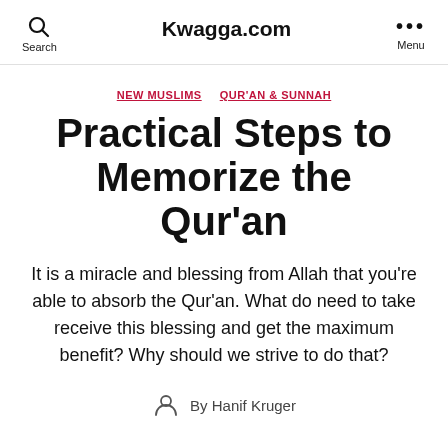Kwagga.com
NEW MUSLIMS   QUR'AN & SUNNAH
Practical Steps to Memorize the Qur'an
It is a miracle and blessing from Allah that you're able to absorb the Qur'an. What do need to take receive this blessing and get the maximum benefit? Why should we strive to do that?
By Hanif Kruger